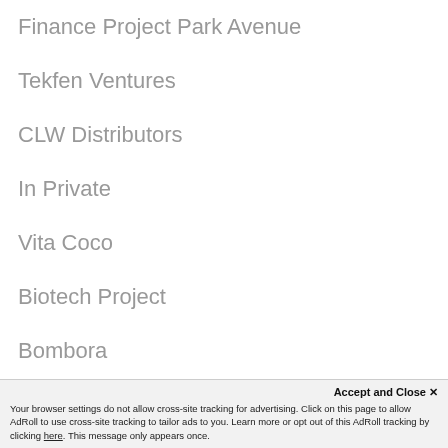Finance Project Park Avenue
Tekfen Ventures
CLW Distributors
In Private
Vita Coco
Biotech Project
Bombora
Campbell Lutyens
Accept and Close ✕
Your browser settings do not allow cross-site tracking for advertising. Click on this page to allow AdRoll to use cross-site tracking to tailor ads to you. Learn more or opt out of this AdRoll tracking by clicking here. This message only appears once.